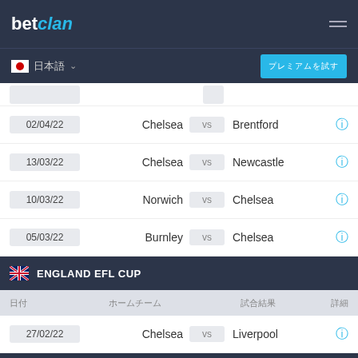betclan
日本語 ▾  プレミアムを試す
| 日付 | ホームチーム |  | アウェイチーム | 詳細 |
| --- | --- | --- | --- | --- |
| 02/04/22 | Chelsea | vs | Brentford | ℹ |
| 13/03/22 | Chelsea | vs | Newcastle | ℹ |
| 10/03/22 | Norwich | vs | Chelsea | ℹ |
| 05/03/22 | Burnley | vs | Chelsea | ℹ |
ENGLAND EFL CUP
| 日付 | ホームチーム |  | 試合結果 | 詳細 |
| --- | --- | --- | --- | --- |
| 27/02/22 | Chelsea | vs | Liverpool | ℹ |
このWebサイトはCookieを使用しています。このサイトを引き続き使用することにより、このWebサイトによるCookieの使用に同意したことになります。
拒否  クッキーを受け入れる